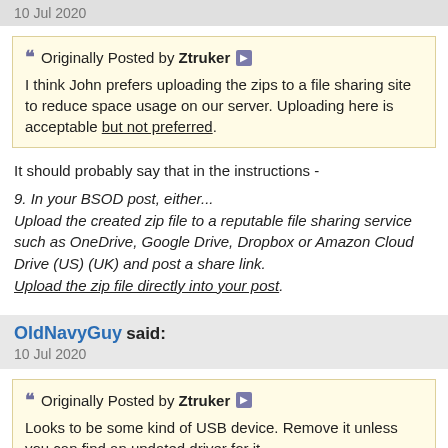10 Jul 2020
Originally Posted by Ztruker [link icon]
I think John prefers uploading the zips to a file sharing site to reduce space usage on our server. Uploading here is acceptable but not preferred.
It should probably say that in the instructions -
9. In your BSOD post, either...
Upload the created zip file to a reputable file sharing service such as OneDrive, Google Drive, Dropbox or Amazon Cloud Drive (US) (UK) and post a share link.
Upload the zip file directly into your post.
OldNavyGuy said:
10 Jul 2020
Originally Posted by Ztruker [link icon]
Looks to be some kind of USB device. Remove it unless you can find an updated driver for it.